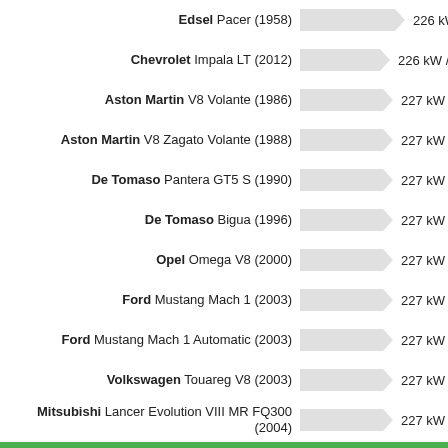Edsel Pacer (1958) — 226 kW / 307 ps
Chevrolet Impala LT (2012) — 226 kW / 307 ps
Aston Martin V8 Volante (1986) — 227 kW / 309 ps
Aston Martin V8 Zagato Volante (1988) — 227 kW / 309 ps
De Tomaso Pantera GT5 S (1990) — 227 kW / 309 ps
De Tomaso Bigua (1996) — 227 kW / 309 ps
Opel Omega V8 (2000) — 227 kW / 309 ps
Ford Mustang Mach 1 (2003) — 227 kW / 309 ps
Ford Mustang Mach 1 Automatic (2003) — 227 kW / 309 ps
Volkswagen Touareg V8 (2003) — 227 kW / 309 ps
Mitsubishi Lancer Evolution VIII MR FQ300 (2004) — 227 kW / 309 ps